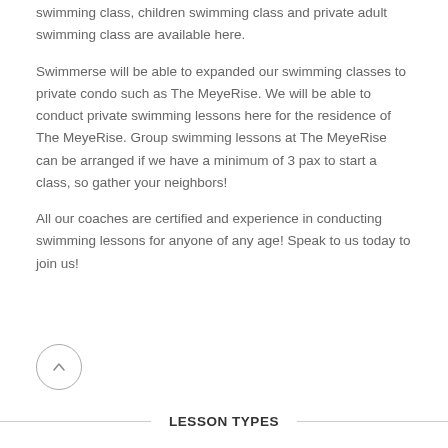swimming class, children swimming class and private adult swimming class are available here.
Swimmerse will be able to expanded our swimming classes to private condo such as The MeyeRise. We will be able to conduct private swimming lessons here for the residence of The MeyeRise. Group swimming lessons at The MeyeRise can be arranged if we have a minimum of 3 pax to start a class, so gather your neighbors!
All our coaches are certified and experience in conducting swimming lessons for anyone of any age! Speak to us today to join us!
LESSON TYPES